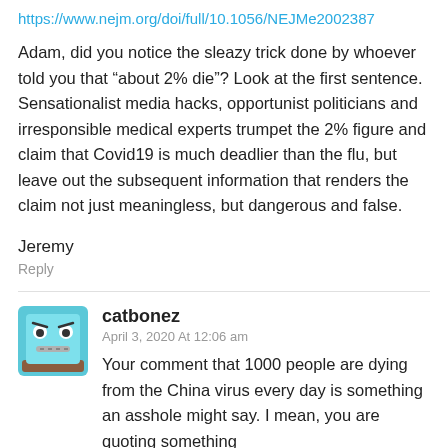https://www.nejm.org/doi/full/10.1056/NEJMe2002387
Adam, did you notice the sleazy trick done by whoever told you that “about 2% die”? Look at the first sentence. Sensationalist media hacks, opportunist politicians and irresponsible medical experts trumpet the 2% figure and claim that Covid19 is much deadlier than the flu, but leave out the subsequent information that renders the claim not just meaningless, but dangerous and false.
Jeremy
Reply
catbonez
April 3, 2020 At 12:06 am
Your comment that 1000 people are dying from the China virus every day is something an asshole might say. I mean, you are quoting something